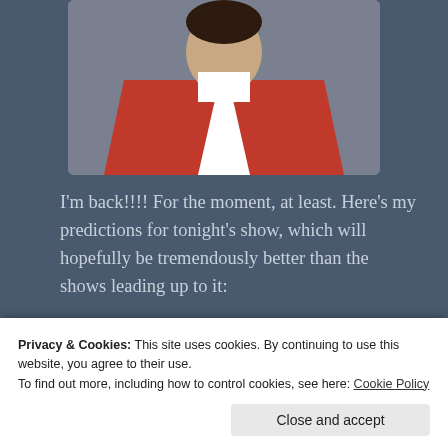[Figure (photo): Person wearing a red and white graduation gown/robe, cropped to show torso and lower face, against a grey background.]
I'm back!!!! For the moment, at least. Here's my predictions for tonight's show, which will hopefully be tremendously better than the shows leading up to it:
Privacy & Cookies: This site uses cookies. By continuing to use this website, you agree to their use.
To find out more, including how to control cookies, see here: Cookie Policy
Close and accept